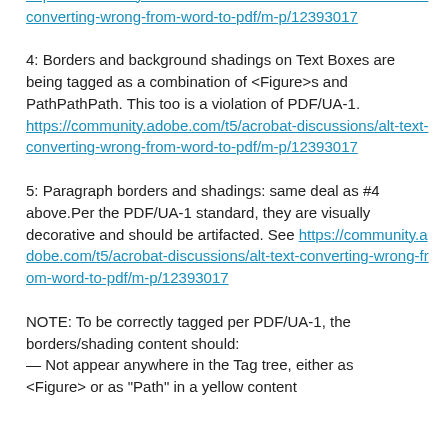assistive technologies. See https://community.adobe.com/t5/acrobat-discussions/alt-text-converting-wrong-from-word-to-pdf/m-p/12393017
4: Borders and background shadings on Text Boxes are being tagged as a combination of <Figure>s and PathPathPath. This too is a violation of PDF/UA-1. https://community.adobe.com/t5/acrobat-discussions/alt-text-converting-wrong-from-word-to-pdf/m-p/12393017
5: Paragraph borders and shadings: same deal as #4 above.Per the PDF/UA-1 standard, they are visually decorative and should be artifacted. See https://community.adobe.com/t5/acrobat-discussions/alt-text-converting-wrong-from-word-to-pdf/m-p/12393017
NOTE: To be correctly tagged per PDF/UA-1, the borders/shading content should:
— Not appear anywhere in the Tag tree, either as <Figure> or as 'Path' in a yellow content...